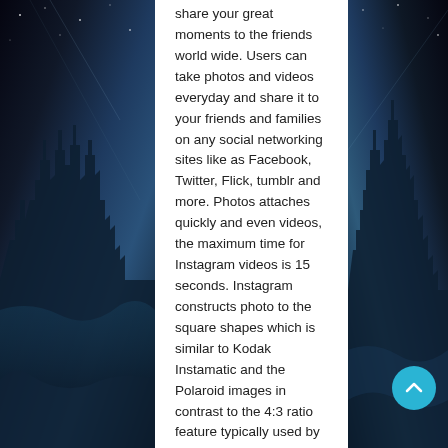share your great moments to the friends world wide. Users can take photos and videos everyday and share it to your friends and families on any social networking sites like as Facebook, Twitter, Flick, tumblr and more. Photos attaches quickly and even videos, the maximum time for Instagram videos is 15 seconds. Instagram constructs photo to the square shapes which is similar to Kodak Instamatic and the Polaroid images in contrast to the 4:3 ratio feature typically used by mobile device cameras. Users can also able to apply digital filters to their images.
Over 300 millions of users using Instagram for
Editing photos and videos for without cost and tradition designed filters.
They can make a better photos using
[Figure (photo): City skyline panoramic photo used as background decoration on the left and right sides of the page]